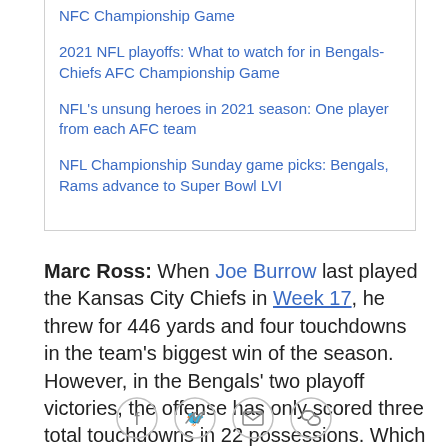NFC Championship Game
2021 NFL playoffs: What to watch for in Bengals-Chiefs AFC Championship Game
NFL's unsung heroes in 2021 season: One player from each AFC team
NFL Championship Sunday game picks: Bengals, Rams advance to Super Bowl LVI
Marc Ross: When Joe Burrow last played the Kansas City Chiefs in Week 17, he threw for 446 yards and four touchdowns in the team's biggest win of the season. However, in the Bengals' two playoff victories, the offense has only scored three total touchdowns in 22 possessions. Which offense will show up Sunday? I predict we'll see the high-flying unit led by Burrow, who will once again throw for over 400 yards and four
[Figure (infographic): Social sharing icon bar with Facebook, Twitter, Email, and link/copy icons in circular outlines]